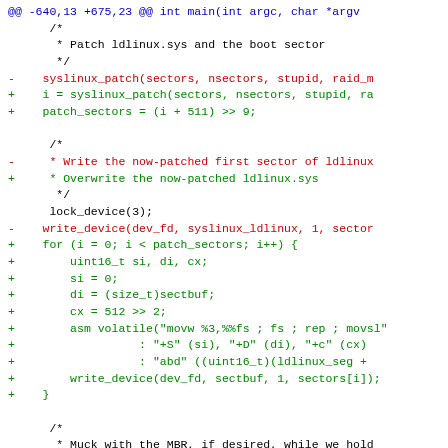[Figure (screenshot): A unified diff view of a C source file showing changes to syslinux patch and write_device function calls, with added code for sector-by-sector writing loop using inline assembly. The diff shows removed lines in red and added lines in green, with context lines in black. At the bottom is a new diff header for extlinux/main.c.]